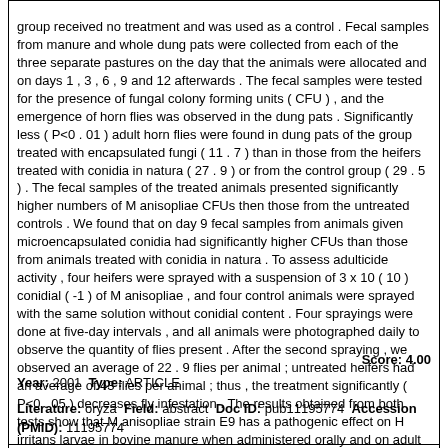group received no treatment and was used as a control . Fecal samples from manure and whole dung pats were collected from each of the three separate pastures on the day that the animals were allocated and on days 1 , 3 , 6 , 9 and 12 afterwards . The fecal samples were tested for the presence of fungal colony forming units ( CFU ) , and the emergence of horn flies was observed in the dung pats . Significantly less ( P<0 . 01 ) adult horn flies were found in dung pats of the group treated with encapsulated fungi ( 11 . 7 ) than in those from the heifers treated with conidia in natura ( 27 . 9 ) or from the control group ( 29 . 5 ) . The fecal samples of the treated animals presented significantly higher numbers of M anisopliae CFUs then those from the untreated controls . We found that on day 9 fecal samples from animals given microencapsulated conidia had significantly higher CFUs than those from animals treated with conidia in natura . To assess adulticide activity , four heifers were sprayed with a suspension of 3 x 10 ( 10 ) conidial ( -1 ) of M anisopliae , and four control animals were sprayed with the same solution without conidial content . Four sprayings were done at five-day intervals , and all animals were photographed daily to observe the quantity of flies present . After the second spraying , we observed an average of 22 . 9 flies per animal ; untreated heifers had an average of 43 flies per animal ; thus , the treatment significantly ( P<0 . 05 ) decreases fly infestation . The results obtained from both tests show that M anisopliae strain E9 has a pathogenic effect on H irritans larvae in bovine manure when administered orally and on adult fly infestations when applied as a spray on the hosts .
Score: 4.00
Year: 2001 Type: ARTICLE
Literature: oryza Field: abstract Doc ID: pub11195774 Accession (PMID): 11195774